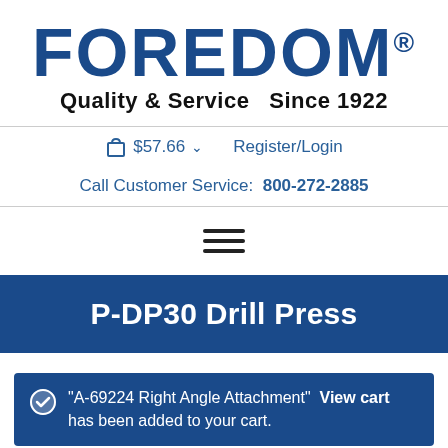FOREDOM® Quality & Service Since 1922
$57.66  Register/Login
Call Customer Service: 800-272-2885
[Figure (other): Hamburger menu icon (three horizontal lines)]
P-DP30 Drill Press
"A-69224 Right Angle Attachment" has been added to your cart. View cart